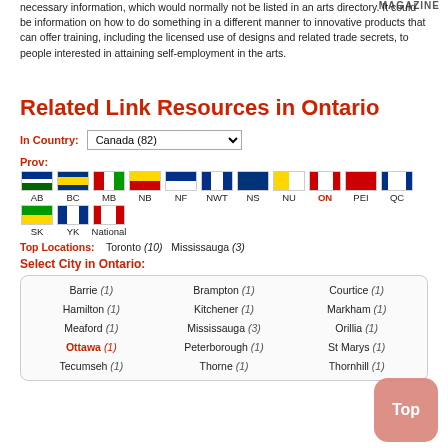MAGAZINE
necessary information, which would normally not be listed in an arts directory. It could be information on how to do something in a different manner to innovative products that can offer training, including the licensed use of designs and related trade secrets, to people interested in attaining self-employment in the arts.
Related Link Resources in Ontario
In Country: Canada (82)
Prov: AB BC MB NB NF NWT NS NU ON PEI QC SK YK National
Top Locations: Toronto (10) Mississauga (3)
Select City in Ontario:
| City | City | City |
| --- | --- | --- |
| Barrie (1) | Brampton (1) | Courtice (1) |
| Hamilton (1) | Kitchener (1) | Markham (1) |
| Meaford (1) | Mississauga (3) | Orillia (1) |
| Ottawa (1) | Peterborough (1) | St Marys (1) |
| Tecumseh (1) | Thorne (1) | Thornhill (1) |